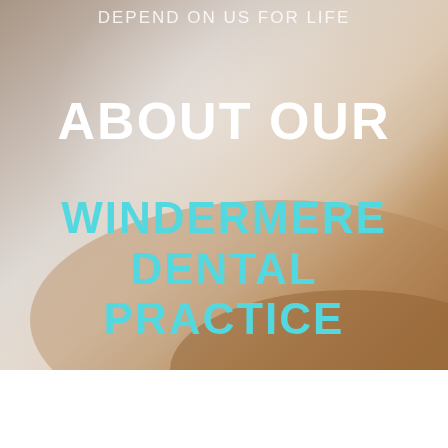[Figure (photo): Blurred background image showing dental/medical office surfaces with warm beige and grey tones, occupying the upper portion of the page]
DEPEND ON US FOR LIFE
ABOUT OUR
WINDERMERE DENTAL PRACTICE